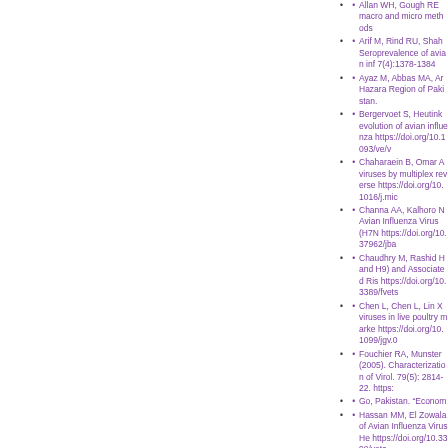• Allan WH, Gough RE macro and micro methods
• Arif M, Rind RU, Shah Seroprevalence of avian inf 7(4):1378-1384
• Ayaz M, Abbas MA, Ar Hazara Region of Pakistan.
• Bergervoet S, Heutink evolution of avian influenza https://doi.org/10.1093/ve/v
• Chaharaein B, Omar A viruses by multiplex reverse https://doi.org/10.1016/j.mic
• Channa AA, Kalhoro N Avian Influenza Virus (H7N https://doi.org/10.37962/jba
• Chaudhry M, Rashid H and H9) and Associated Ris https://doi.org/10.3389/fvets
• Chen L, Chen L, Lin X viruses in live poultry marke https://doi.org/10.1099/jgv.0
• Fouchier RA, Munster (2005). Characterization of Virol. 79(5): 2814-22. https:
• Go, Pakistan. "Econom
• Hassan MM, El Zowala of Avian Influenza Virus He https://doi.org/10.3390/vets
• Hira A, Bilal A, Naveed